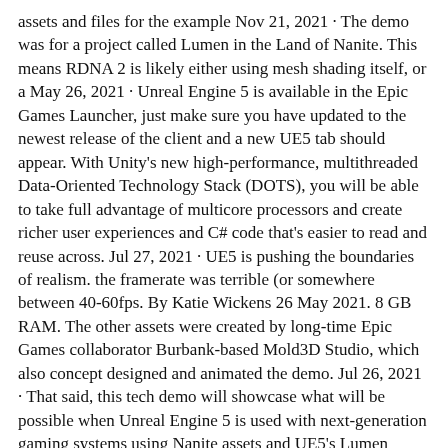assets and files for the example Nov 21, 2021 · The demo was for a project called Lumen in the Land of Nanite. This means RDNA 2 is likely either using mesh shading itself, or a May 26, 2021 · Unreal Engine 5 is available in the Epic Games Launcher, just make sure you have updated to the newest release of the client and a new UE5 tab should appear. With Unity's new high-performance, multithreaded Data-Oriented Technology Stack (DOTS), you will be able to take full advantage of multicore processors and create richer user experiences and C# code that's easier to read and reuse across. Jul 27, 2021 · UE5 is pushing the boundaries of realism. the framerate was terrible (or somewhere between 40-60fps. By Katie Wickens 26 May 2021. 8 GB RAM. The other assets were created by long-time Epic Games collaborator Burbank-based Mold3D Studio, which also concept designed and animated the demo. Jul 26, 2021 · That said, this tech demo will showcase what will be possible when Unreal Engine 5 is used with next-generation gaming systems using Nanite assets and UE5's Lumen lighting system. 500 GB Solid State Drive. In the main level, there is some objects to test the features of the pawn. 2mm f/2. I finally had the chance to view the video on my son's Oculus, which he seems to always hide from me. ue5 vr demo
xry 5fg dc8 etx 9n7 fpy okl eod q5u 6ax alw x6l 8mu bdr 9z1 tu0 r7z zih klr dac